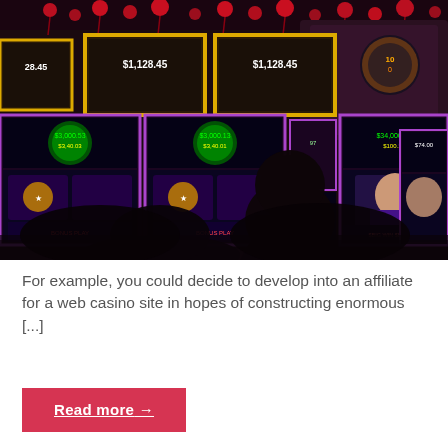[Figure (photo): Interior of a casino floor showing multiple slot machines with bright colorful screens displaying dollar amounts like $1,128.45 and $3,000.13. Silhouettes of people are visible in the foreground against the glowing machines. Red decorative elements hang from the ceiling.]
For example, you could decide to develop into an affiliate for a web casino site in hopes of constructing enormous [...]
Read more →